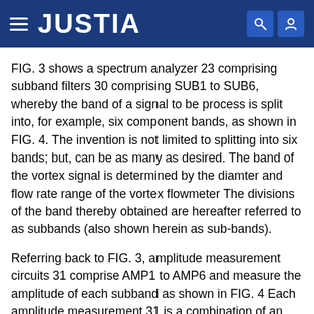JUSTIA
FIG. 3 shows a spectrum analyzer 23 comprising subband filters 30 comprising SUB1 to SUB6, whereby the band of a signal to be process is split into, for example, six component bands, as shown in FIG. 4. The invention is not limited to splitting into six bands; but, can be as many as desired. The band of the vortex signal is determined by the diamter and flow rate range of the vortex flowmeter The divisions of the band thereby obtained are hereafter referred to as subbands (also shown herein as sub-bands).
Referring back to FIG. 3, amplitude measurement circuits 31 comprise AMP1 to AMP6 and measure the amplitude of each subband as shown in FIG. 4 Each amplitude measurement 31 is a combination of an absolute value circuit and a low pass filter or a